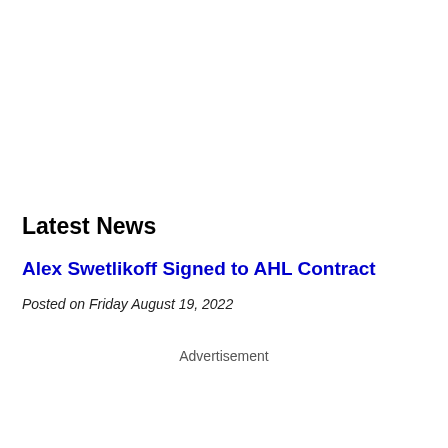Latest News
Alex Swetlikoff Signed to AHL Contract
Posted on Friday August 19, 2022
Advertisement